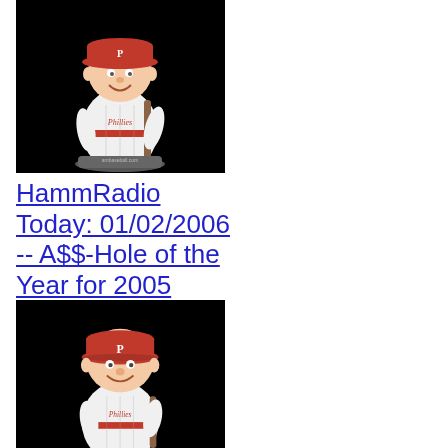[Figure (photo): Bobblehead figurine of a Phillies baseball player wearing red and white uniform, holding a bat, on a black background with ambaseball.com watermark]
HammRadio Today: 01/02/2006 -- A$$-Hole of the Year for 2005
[Figure (photo): Closeup/cropped bobblehead figurine of the same Phillies baseball player wearing red cap with P logo and white pinstripe uniform, on a black background]